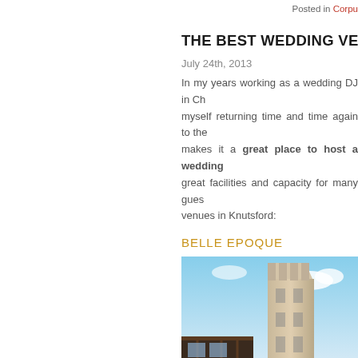Posted in Corpu...
THE BEST WEDDING VENUES IN KNU...
July 24th, 2013
In my years working as a wedding DJ in Ch... myself returning time and time again to the... makes it a great place to host a wedding great facilities and capacity for many gues... venues in Knutsford:
BELLE EPOQUE
[Figure (photo): Low-angle photograph of historic stone buildings in Knutsford, showing a tall tower and Victorian architecture against a blue sky]